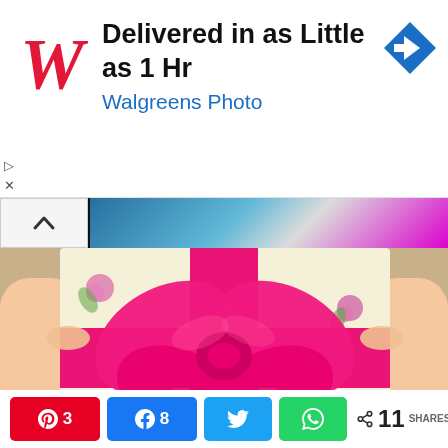[Figure (screenshot): Walgreens Photo advertisement banner: red cursive W logo, headline 'Delivered in as Little as 1 Hr', subtext 'Walgreens Photo' in blue, blue diamond arrow icon on right]
[Figure (photo): Hands holding a gift box wrapped in floral paper with a large hot-pink satin bow, video thumbnail with navigation controls visible at top]
[Figure (infographic): Social sharing bar: Pinterest button showing 3, Facebook button showing 8, Twitter button, WhatsApp button, share icon with 11 SHARES total]